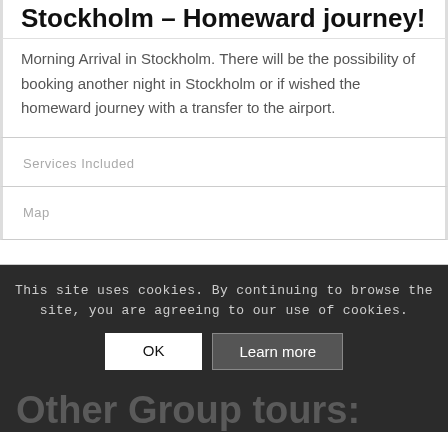Stockholm – Homeward journey!
Morning Arrival in Stockholm. There will be the possibility of booking another night in Stockholm or if wished the homeward journey with a transfer to the airport.
Services Included
Map
This site uses cookies. By continuing to browse the site, you are agreeing to our use of cookies.
OK
Learn more
Other Group tours: